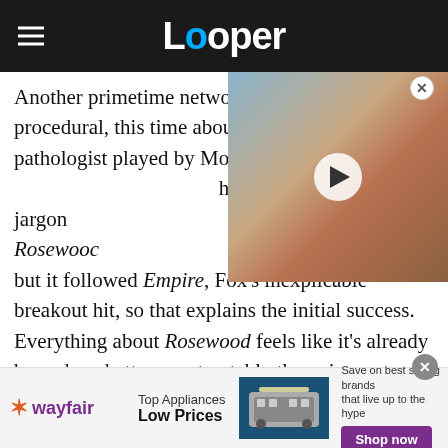Looper
Another primetime network slot, another police procedural, this time about a pathologist played by Morris his quips and medical jargon biology textbook. Rosewood its premiere, but it followed Empire, Fox's inexplicable breakout hit, so that explains the initial success. Everything about Rosewood feels like it's already been done better, most notably the voice-over narration from Beaumont Rosewood (yep,
[Figure (photo): Video thumbnail showing a man with long dark hair, play button overlay in center]
[Figure (infographic): Wayfair advertisement banner: Top Appliances Low Prices, Save on best selling brands that live up to the hype, Shop now button]